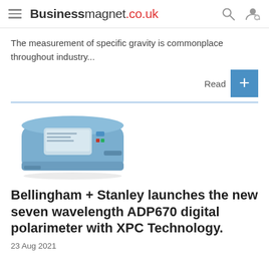Businessmagnet.co.uk
The measurement of specific gravity is commonplace throughout industry...
[Figure (other): Blue digital polarimeter instrument (Bellingham + Stanley ADP670)]
Bellingham + Stanley launches the new seven wavelength ADP670 digital polarimeter with XPC Technology.
23 Aug 2021